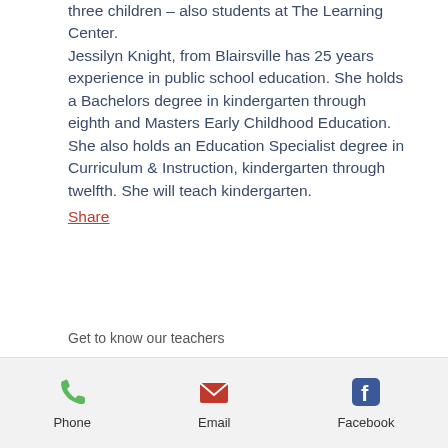three children – also students at The Learning Center. Jessilyn Knight, from Blairsville has 25 years experience in public school education. She holds a Bachelors degree in kindergarten through eighth and Masters Early Childhood Education.  She also holds an Education Specialist degree in Curriculum & Instruction, kindergarten through twelfth. She will teach kindergarten.
Share
Get to know our teachers
[Figure (infographic): Footer bar with three icons: Phone (green phone icon), Email (pink envelope icon), Facebook (blue Facebook icon), with labels below each]